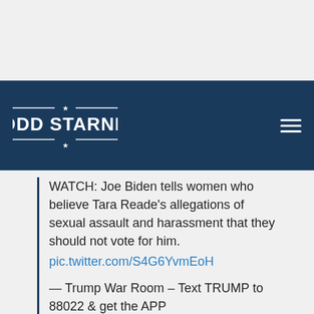TODD STARNES
WATCH: Joe Biden tells women who believe Tara Reade's allegations of sexual assault and harassment that they should not vote for him. pic.twitter.com/S4G6YvmEoH

— Trump War Room – Text TRUMP to 88022 & get the APP (@TrumpWarRoom) May 15, 2020
the organizers of Thursday's protest say